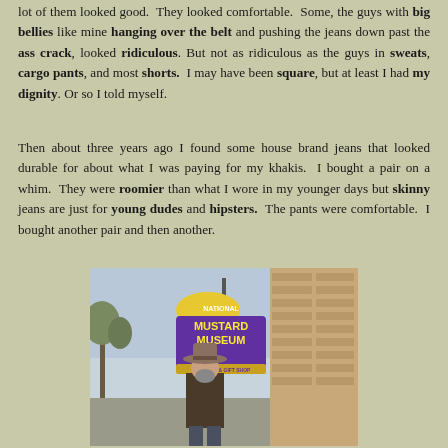lot of them looked good. They looked comfortable. Some, the guys with big bellies like mine hanging over the belt and pushing the jeans down past the ass crack, looked ridiculous. But not as ridiculous as the guys in sweats, cargo pants, and most shorts. I may have been square, but at least I had my dignity. Or so I told myself.
Then about three years ago I found some house brand jeans that looked durable for about what I was paying for my khakis. I bought a pair on a whim. They were roomier than what I wore in my younger days but skinny jeans are just for young dudes and hipsters. The pants were comfortable. I bought another pair and then another.
[Figure (photo): A man wearing a cowboy hat standing in front of the National Mustard Museum sign, next to a brick building.]